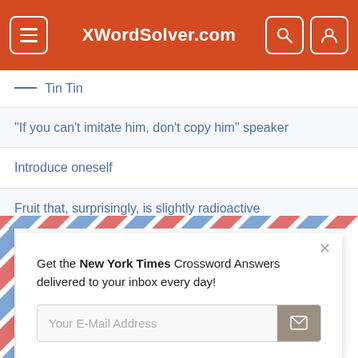XWordSolver.com
___ Tin Tin
"If you can't imitate him, don't copy him" speaker
Introduce oneself
Fruit that, surprisingly, is slightly radioactive
Supporting role
Kind of spring found in a mousetrap
[Figure (screenshot): Email newsletter signup modal with airmail border styling. Text reads: Get the New York Times Crossword Answers delivered to your inbox every day! With an email input field and send button.]
URL ending